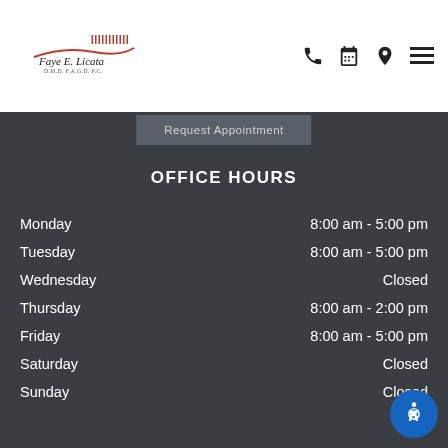[Figure (logo): Faye E. Licata D.M.D. F.A.G.D. P.C. dental practice logo with toothbrush graphic in red]
Request Appointment
OFFICE HOURS
Monday   8:00 am - 5:00 pm
Tuesday   8:00 am - 5:00 pm
Wednesday   Closed
Thursday   8:00 am - 2:00 pm
Friday   8:00 am - 5:00 pm
Saturday   Closed
Sunday   Closed